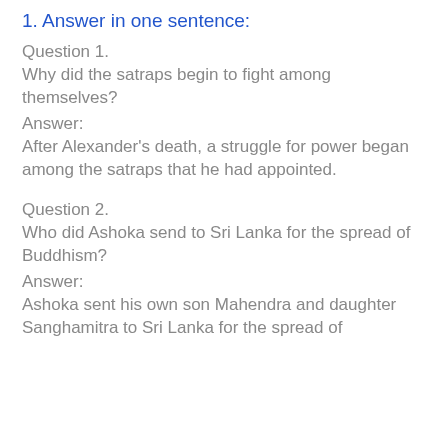1. Answer in one sentence:
Question 1.
Why did the satraps begin to fight among themselves?
Answer:
After Alexander's death, a struggle for power began among the satraps that he had appointed.
Question 2.
Who did Ashoka send to Sri Lanka for the spread of Buddhism?
Answer:
Ashoka sent his own son Mahendra and daughter Sanghamitra to Sri Lanka for the spread of